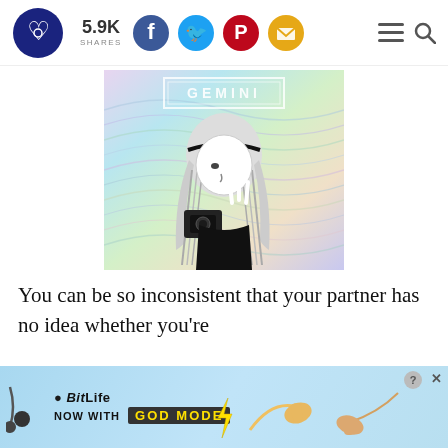5.9K SHARES
[Figure (illustration): Black and white illustration of a girl with long hair wearing a headband, holding a camera, making a peace sign, against a holographic/iridescent swirled background with the word GEMINI in a rectangle at top]
You can be so inconsistent that your partner has no idea whether you're
[Figure (other): Advertisement banner: BitLife - Now with GOD MODE, featuring illustrated hands pointing and a lightning bolt graphic on light blue background]